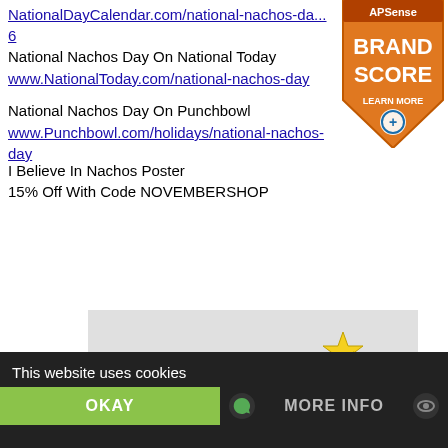NationalDayCalendar.com/national-nachos-da...
6
National Nachos Day On National Today
www.NationalToday.com/national-nachos-day
National Nachos Day On Punchbowl
www.Punchbowl.com/holidays/national-nachos-day
I Believe In Nachos Poster
15% Off With Code NOVEMBERSHOP
[Figure (logo): APSense Brand Score badge - orange shield shape with text APSense BRAND SCORE and LEARN MORE]
[Figure (photo): I Believe In Nachos poster image with script text 'I Believe in' on light gray background with yellow star]
This website uses cookies
OKAY
MORE INFO